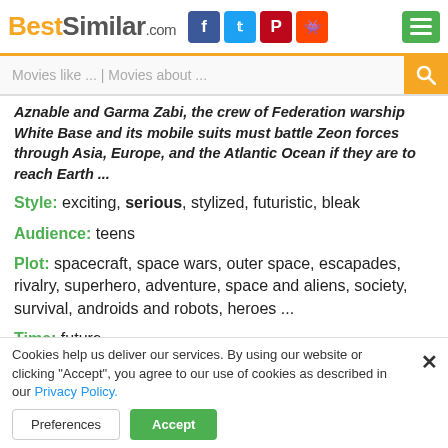BestSimilar.com
Movies like ... | Movies about ...
Aznable and Garma Zabi, the crew of Federation warship White Base and its mobile suits must battle Zeon forces through Asia, Europe, and the Atlantic Ocean if they are to reach Earth ...
Style: exciting, serious, stylized, futuristic, bleak
Audience: teens
Plot: spacecraft, space wars, outer space, escapades, rivalry, superhero, adventure, space and aliens, society, survival, androids and robots, heroes ...
Time: future
[Figure (other): MOVIE play button (dark button with play arrows and MOVIE text)]
Cookies help us deliver our services. By using our website or clicking "Accept", you agree to our use of cookies as described in our Privacy Policy.